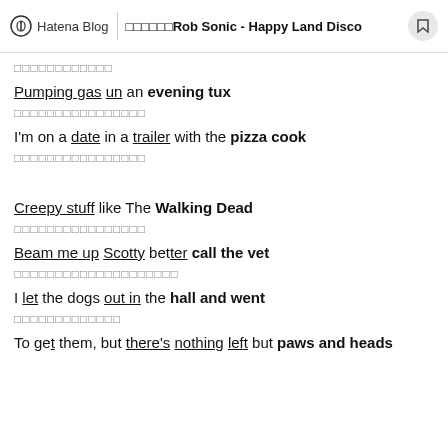Hatena Blog | ??????Rob Sonic - Happy Land Disco
????????????
Pumping gas un an evening tux
????????????????
I'm on a date in a trailer with the pizza cook
????????????????
Creepy stuff like The Walking Dead
????????????????
Beam me up Scotty better call the vet
????????????????????
I let the dogs out in the hall and went
?????????????
To get them, but there's nothing left but paws and heads